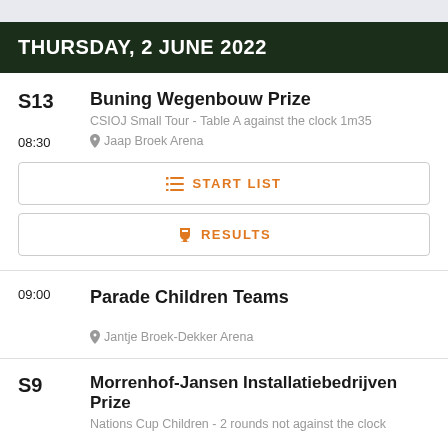THURSDAY, 2 JUNE 2022
S13
08:30
Buning Wegenbouw Prize
CSIOJ Small Tour - Table A against the clock 1m35
Jaap Broek Arena
START LIST
RESULTS
09:00
Parade Children Teams
Jantje Broek-Dekker Arena
S9
Morrenhof-Jansen Installatiebedrijven Prize
Nations Cup Children - 2 rounds not against the clock